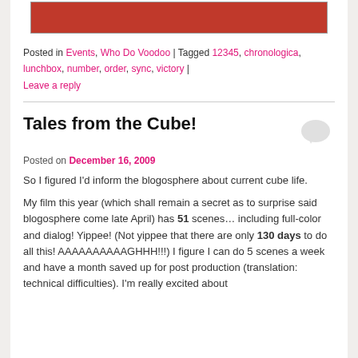[Figure (photo): A red-colored image strip at the top of the page]
Posted in Events, Who Do Voodoo | Tagged 12345, chronologica, lunchbox, number, order, sync, victory | Leave a reply
Tales from the Cube!
Posted on December 16, 2009
So I figured I'd inform the blogosphere about current cube life.
My film this year (which shall remain a secret as to surprise said blogosphere come late April) has 51 scenes… including full-color and dialog! Yippee! (Not yippee that there are only 130 days to do all this! AAAAAAAAAAGHHH!!!) I figure I can do 5 scenes a week and have a month saved up for post production (translation: technical difficulties). I'm really excited about